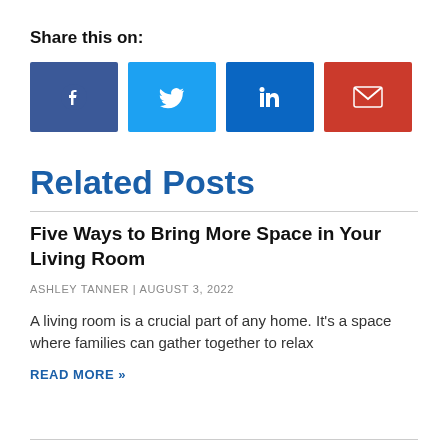Share this on:
[Figure (infographic): Four social sharing buttons: Facebook (dark blue), Twitter (light blue), LinkedIn (medium blue), Email (red), each with a white icon centered on a colored rectangle.]
Related Posts
Five Ways to Bring More Space in Your Living Room
ASHLEY TANNER | AUGUST 3, 2022
A living room is a crucial part of any home. It’s a space where families can gather together to relax
READ MORE »